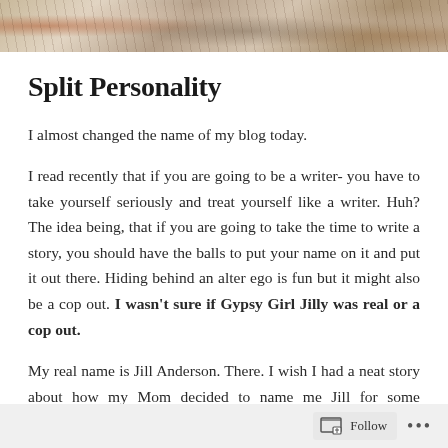[Figure (photo): Decorative header image with abstract floral or nature pattern in warm earth tones — browns, tans, and oranges]
Split Personality
I almost changed the name of my blog today.
I read recently that if you are going to be a writer- you have to take yourself seriously and treat yourself like a writer. Huh? The idea being, that if you are going to take the time to write a story, you should have the balls to put your name on it and put it out there. Hiding behind an alter ego is fun but it might also be a cop out. I wasn't sure if Gypsy Girl Jilly was real or a cop out.
My real name is Jill Anderson. There. I wish I had a neat story about how my Mom decided to name me Jill for some meaningful purpose— but the truth of the matter is that she
Follow ...